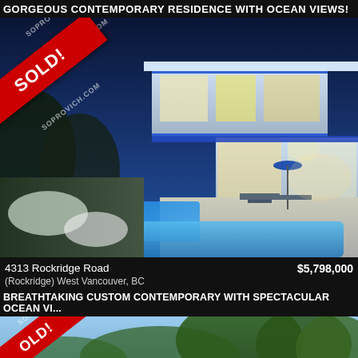GORGEOUS CONTEMPORARY RESIDENCE WITH OCEAN VIEWS!
[Figure (photo): Night photo of a modern contemporary home with pool, patio furniture, lush garden. SOLD! banners and soprovich.com watermarks overlaid diagonally.]
4313 Rockridge Road
(Rockridge) West Vancouver, BC
$5,798,000
BREATHTAKING CUSTOM CONTEMPORARY WITH SPECTACULAR OCEAN VI...
[Figure (photo): Partial bottom photo showing trees and sky, with SOLD! banner and soprovich.com watermark overlaid diagonally.]